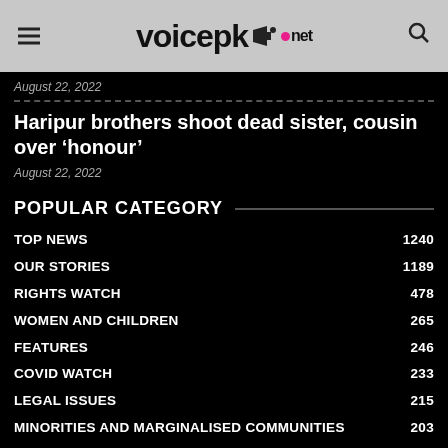voicepk.net
August 22, 2022
Haripur brothers shoot dead sister, cousin over ‘honour’
August 22, 2022
POPULAR CATEGORY
TOP NEWS 1240
OUR STORIES 1189
RIGHTS WATCH 478
WOMEN AND CHILDREN 265
FEATURES 246
COVID WATCH 233
LEGAL ISSUES 215
MINORITIES AND MARGINALISED COMMUNITIES 203
FREEDOM OF EXPRESSION 185